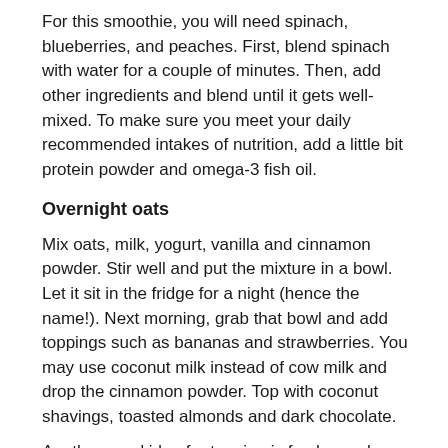For this smoothie, you will need spinach, blueberries, and peaches. First, blend spinach with water for a couple of minutes. Then, add other ingredients and blend until it gets well-mixed. To make sure you meet your daily recommended intakes of nutrition, add a little bit protein powder and omega-3 fish oil.
Overnight oats
Mix oats, milk, yogurt, vanilla and cinnamon powder. Stir well and put the mixture in a bowl. Let it sit in the fridge for a night (hence the name!). Next morning, grab that bowl and add toppings such as bananas and strawberries. You may use coconut milk instead of cow milk and drop the cinnamon powder. Top with coconut shavings, toasted almonds and dark chocolate.
Another good idea for topping is fresh peach slices and nuts. But for this, you should also omit the cinnamon and add more vanilla extract.